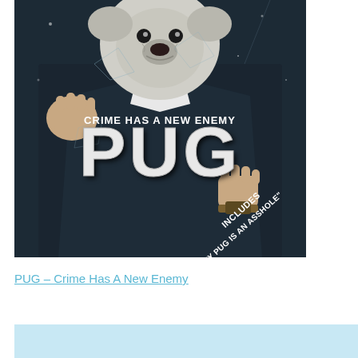[Figure (illustration): Album/movie cover art showing a person in a dark suit with a pug dog's face/head, holding clenched fists through broken glass. Text overlay reads 'CRIME HAS A NEW ENEMY' above large bold text 'PUG', and in the lower right 'INCLUDES "MY PUG IS AN ASSHOLE"'.]
PUG – Crime Has A New Enemy